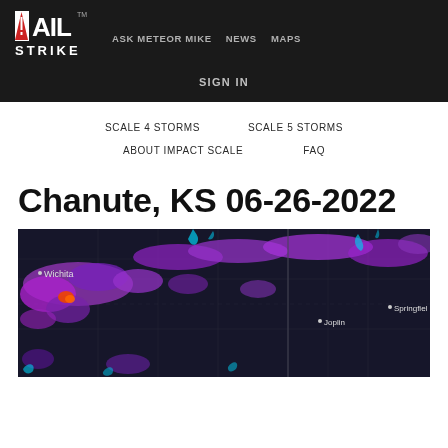HAIL STRIKE™ | ASK METEOR MIKE | NEWS | MAPS | SIGN IN
SCALE 4 STORMS    SCALE 5 STORMS
ABOUT IMPACT SCALE    FAQ
Chanute, KS 06-26-2022
[Figure (map): Radar map showing hail storm coverage over Kansas/Missouri region including Wichita, Joplin, and Springfield, dated 06-26-2022. Purple and pink blobs indicate storm cells on a dark background with road/state lines visible.]